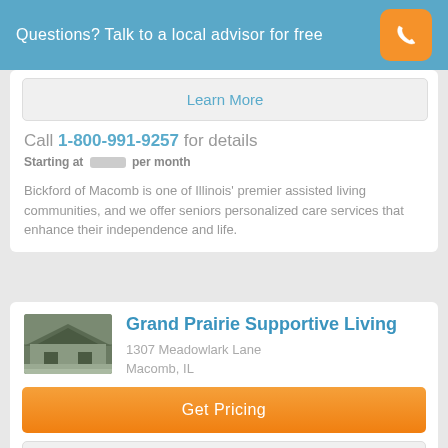Questions? Talk to a local advisor for free
Learn More
Call 1-800-991-9257 for details
Starting at [price] per month
Bickford of Macomb is one of Illinois' premier assisted living communities, and we offer seniors personalized care services that enhance their independence and life.
Grand Prairie Supportive Living
1307 Meadowlark Lane
Macomb, IL
Get Pricing
Learn More